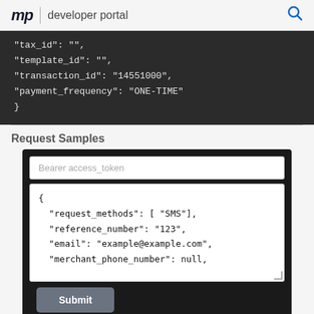mp | developer portal
"tax_id": "",
"template_id": "",
"transaction_id": "14551000",
"payment_frequency": "ONE-TIME"
}
Request Samples
Bearer access_token
{
  "request_methods": [ "SMS"],
  "reference_number": "123",
  "email": "example@example.com",
  "merchant_phone_number": null,